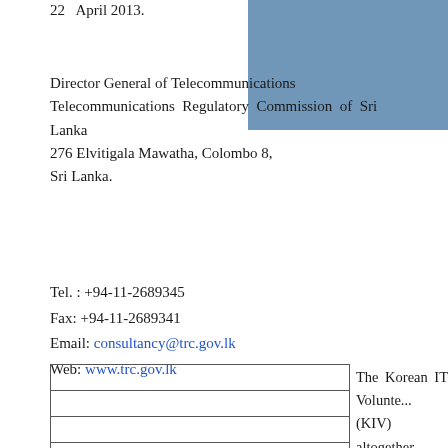22   April 2013.
[Figure (other): Blue decorative rectangle in upper right corner]
Director General of Telecommunications
Telecommunications Regulatory Commission of Sri Lanka
276 Elvitigala Mawatha, Colombo 8,
Sri Lanka.
Tel. : +94-11-2689345
Fax: +94-11-2689341
Email: consultancy@trc.gov.lk
Web: www.trc.gov.lk
|  |
|  |
|  |
|  |
The Korean IT Volunte... (KIV) altogether compris... four teams will be arrivin... Sri Lanka on 6th July unde...